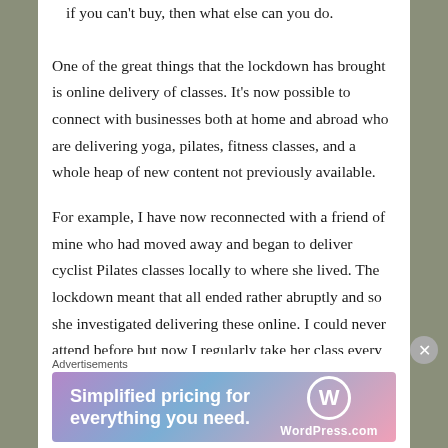if you can't buy, then what else can you do.
One of the great things that the lockdown has brought is online delivery of classes. It's now possible to connect with businesses both at home and abroad who are delivering yoga, pilates, fitness classes, and a whole heap of new content not previously available.
For example, I have now reconnected with a friend of mine who had moved away and began to deliver cyclist Pilates classes locally to where she lived. The lockdown meant that all ended rather abruptly and so she investigated delivering these online. I could never attend before but now I regularly take her class every Saturday. I had done Pilates before, so the
Advertisements
[Figure (other): WordPress.com advertisement banner: 'Simplified pricing for everything you need.' with WordPress.com logo]